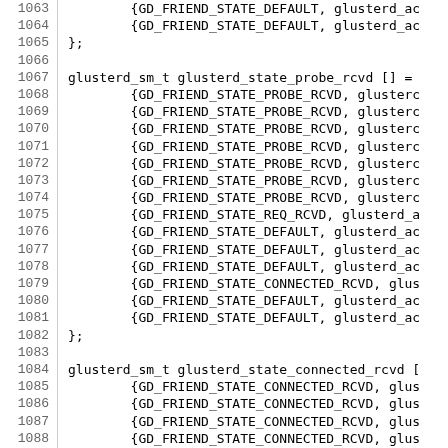Source code lines 1063-1092 showing C array definitions for glusterd state machine transitions including glusterd_state_probe_rcvd and glusterd_state_connected_rcvd arrays with GD_FRIEND_STATE constants.